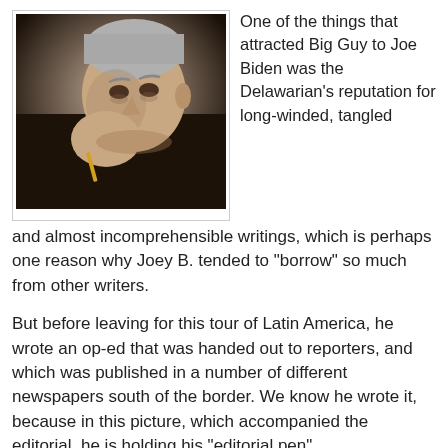[Figure (photo): Black and white photo of an older man with grey/white hair, resting his face on his hand, appearing to be in a pensive pose, holding what appears to be a pen.]
One of the things that attracted Big Guy to Joe Biden was the Delawarian's reputation for long-winded, tangled and almost incomprehensible writings, which is perhaps one reason why Joey B. tended to "borrow" so much from other writers.
But before leaving for this tour of Latin America, he wrote an op-ed that was handed out to reporters, and which was published in a number of different newspapers south of the border. We know he wrote it, because in this picture, which accompanied the editorial, he is holding his "editorial pen"
In the editorial, which was reprinted in English, Spanish and Portuguese, Joe intended to say that we must have intestinal fortitude to defend democracy. Unfortunately - and this is another way we know Joe wrote this - the sentence in